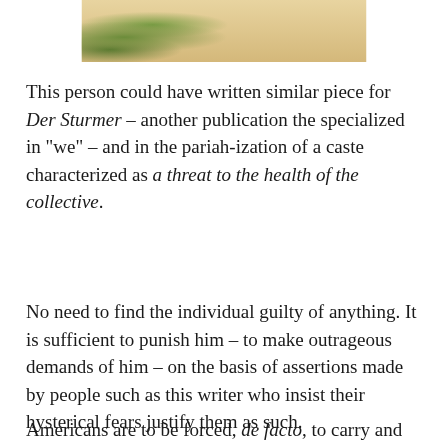[Figure (illustration): Partial view of a historical or editorial illustration showing figures, cropped at the top of the page]
This person could have written similar piece for Der Sturmer – another publication the specialized in “we” – and in the pariah-ization of a caste characterized as a threat to the health of the collective.
No need to find the individual guilty of anything. It is sufficient to punish him – to make outrageous demands of him – on the basis of assertions made by people such as this writer who insist their hysterical fears justify them as such.
Americans are to be forced, de facto, to carry and